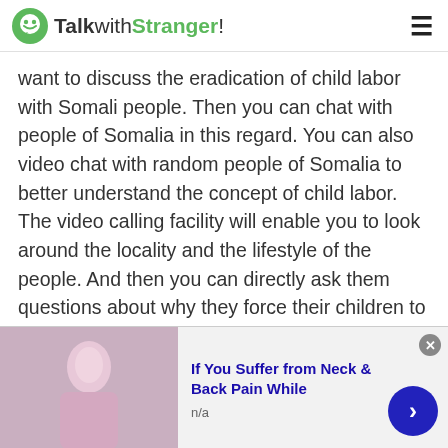TalkwithStranger!
want to discuss the eradication of child labor with Somali people. Then you can chat with people of Somalia in this regard. You can also video chat with random people of Somalia to better understand the concept of child labor. The video calling facility will enable you to look around the locality and the lifestyle of the people. And then you can directly ask them questions about why they force their children to work.
Apart from this, you can also chat with people a...
[Figure (other): Ad banner showing a woman with neck/back pain, with text 'If You Suffer from Neck & Back Pain While' and 'n/a']